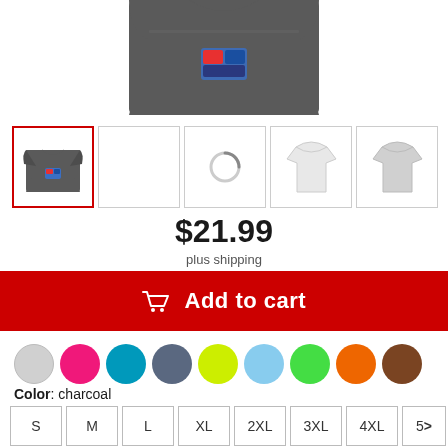[Figure (photo): Partial view of a dark charcoal grey t-shirt from above, showing the front torso area cropped at the top.]
[Figure (photo): Row of 5 product thumbnail images: first shows the charcoal t-shirt with a graphic (selected, red border), second is blank white, third shows a loading spinner, fourth shows a white shirt back outline, fifth shows a lighter grey shirt outline.]
$21.99
plus shipping
Add to cart
[Figure (infographic): Row of 10 color swatches (circles): light grey, hot pink, teal/cyan, slate blue, yellow-green, sky blue, lime green, orange, brown.]
Color: charcoal
S  M  L  XL  2XL  3XL  4XL  5>